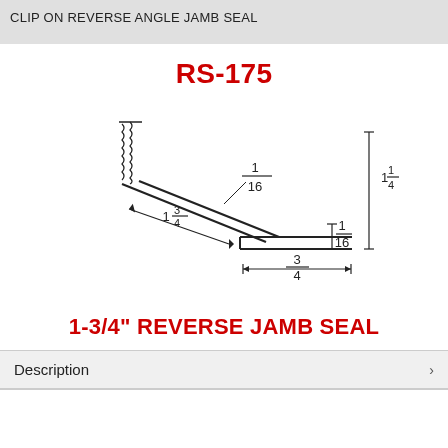CLIP ON REVERSE ANGLE JAMB SEAL
RS-175
[Figure (engineering-diagram): Technical cross-section drawing of RS-175 clip on reverse angle jamb seal showing dimensions: 1-3/4 inch length of angled arm, 1/16 inch tip width, 3/4 inch base width, 1/16 inch base height, 1-1/4 inch total height. The seal has a serrated/ribbed clip top and an angled flat arm extending to a small rectangular foot.]
1-3/4" REVERSE JAMB SEAL
Description